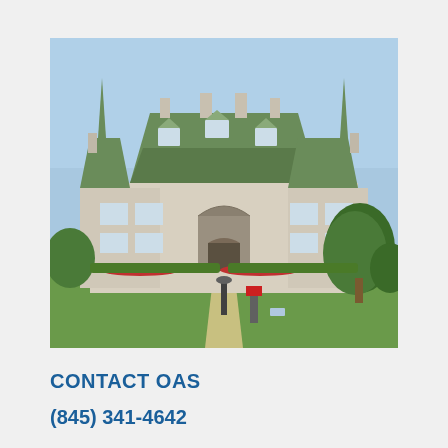[Figure (photo): Aerial exterior photo of a large Victorian-style mansion with a green mansard roof, multiple chimneys, dormer windows, and ornate architectural details. The building is stone-faced with green lawns, trees, and red flower beds in front. A pathway leads to the entrance.]
CONTACT OAS
(845) 341-4642